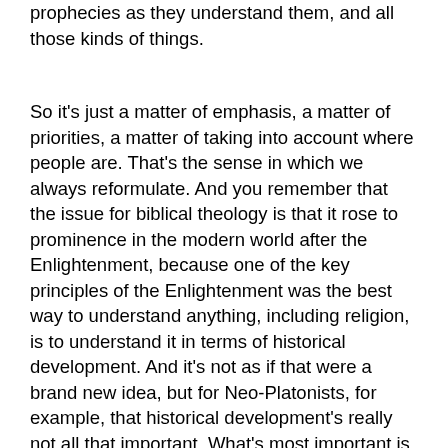prophecies as they understand them, and all those kinds of things.
So it's just a matter of emphasis, a matter of priorities, a matter of taking into account where people are. That's the sense in which we always reformulate. And you remember that the issue for biblical theology is that it rose to prominence in the modern world after the Enlightenment, because one of the key principles of the Enlightenment was the best way to understand anything, including religion, is to understand it in terms of historical development. And it's not as if that were a brand new idea, but for Neo-Platonists, for example, that historical development's really not all that important. What's most important is the abstract. So when you're speaking to a world where historical development is the central issue philosophically,